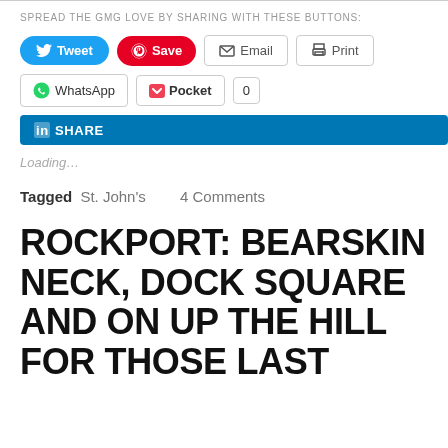SPREAD THE GMG LOVE BY SHARING WITH THESE BUTTONS:
[Figure (screenshot): Social sharing buttons: Tweet (blue), Save (red Pinterest), Email, Print, WhatsApp, Pocket with count 0, LinkedIn Share]
Loading…
Tagged St. John's    4 Comments
ROCKPORT: BEARSKIN NECK, DOCK SQUARE AND ON UP THE HILL FOR THOSE LAST